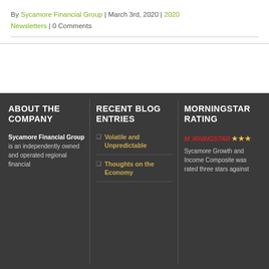By Sycamore Financial Group | March 3rd, 2020 | 2020 Newsletters | 0 Comments
ABOUT THE COMPANY
Sycamore Financial Group is an independently owned and operated regional financial
RECENT BLOG ENTRIES
Volatile and Unpredictable
Thoughts on the Economy
MORNINGSTAR RATING
Sycamore Growth and Income Composite was rated three stars against